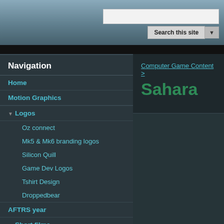Search this site
Navigation
Home
Motion Graphics
Logos
Oz connect
Mk5 & Mk6 branding logos
Silicon Quill
Game Dev Logos
Tshirt Design
Droppedbear
AFTRS year
Short films
Documentary style
Film School films
Animation
Timelapse
Computer Game Content >
Sahara